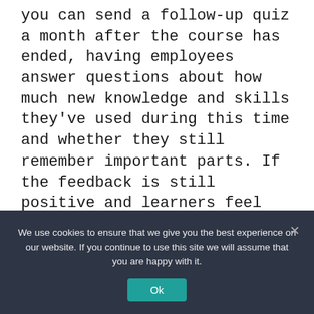you can send a follow-up quiz a month after the course has ended, having employees answer questions about how much new knowledge and skills they've used during this time and whether they still remember important parts. If the feedback is still positive and learners feel confident about applying new skills, you'll know that your training program is doing its job.
Related: 3 Corporate Training Resolutions for 2022
We use cookies to ensure that we give you the best experience on our website. If you continue to use this site we will assume that you are happy with it.